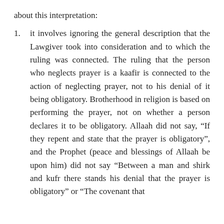about this interpretation:
it involves ignoring the general description that the Lawgiver took into consideration and to which the ruling was connected. The ruling that the person who neglects prayer is a kaafir is connected to the action of neglecting prayer, not to his denial of it being obligatory. Brotherhood in religion is based on performing the prayer, not on whether a person declares it to be obligatory. Allaah did not say, “If they repent and state that the prayer is obligatory”, and the Prophet (peace and blessings of Allaah be upon him) did not say “Between a man and shirk and kufr there stands his denial that the prayer is obligatory” or “The covenant that